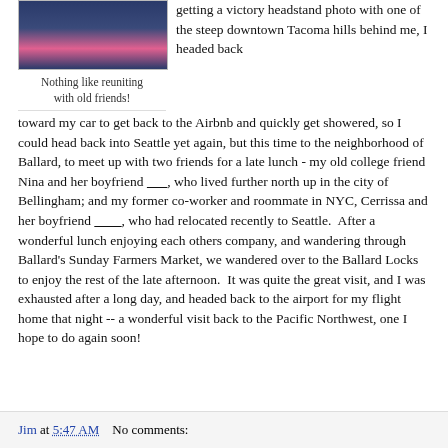[Figure (photo): Photo of people, partially visible at top of page]
Nothing like reuniting with old friends!
getting a victory headstand photo with one of the steep downtown Tacoma hills behind me, I headed back toward my car to get back to the Airbnb and quickly get showered, so I could head back into Seattle yet again, but this time to the neighborhood of Ballard, to meet up with two friends for a late lunch - my old college friend Nina and her boyfriend ___, who lived further north up in the city of Bellingham; and my former co-worker and roommate in NYC, Cerrissa and her boyfriend ____, who had relocated recently to Seattle.  After a wonderful lunch enjoying each others company, and wandering through Ballard's Sunday Farmers Market, we wandered over to the Ballard Locks to enjoy the rest of the late afternoon.  It was quite the great visit, and I was exhausted after a long day, and headed back to the airport for my flight home that night -- a wonderful visit back to the Pacific Northwest, one I hope to do again soon!
Jim at 5:47 AM    No comments: